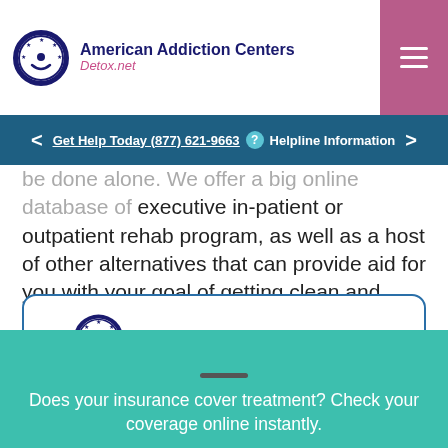American Addiction Centers Detox.net
Get Help Today (877) 621-9663 ? Helpline Information
be done alone. We offer a big online database of executive in-patient or outpatient rehab program, as well as a host of other alternatives that can provide aid for you with your goal of getting clean and sober.
[Figure (logo): American Addiction Centers logo with circular star emblem]
Does your insurance cover detox?
Check your coverage online or text us your questions to learn more.
Does your insurance cover treatment? Check your coverage online instantly.